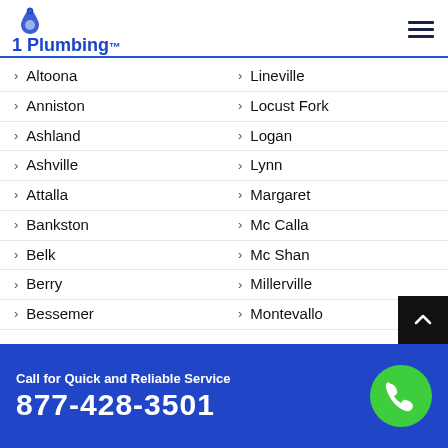1 Plumbing
Altoona
Lineville
Anniston
Locust Fork
Ashland
Logan
Ashville
Lynn
Attalla
Margaret
Bankston
Mc Calla
Belk
Mc Shan
Berry
Millerville
Bessemer
Montevallo
Birmingham
Moody
Call for Quick and Reliable Service 877-428-3501